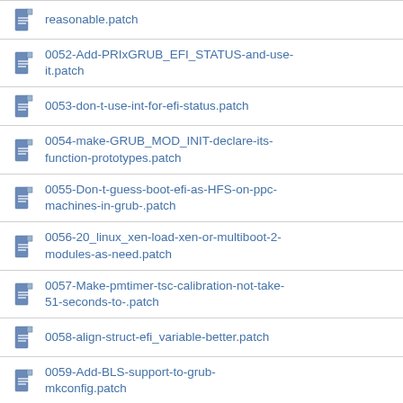reasonable.patch
0052-Add-PRIxGRUB_EFI_STATUS-and-use-it.patch
0053-don-t-use-int-for-efi-status.patch
0054-make-GRUB_MOD_INIT-declare-its-function-prototypes.patch
0055-Don-t-guess-boot-efi-as-HFS-on-ppc-machines-in-grub-.patch
0056-20_linux_xen-load-xen-or-multiboot-2-modules-as-need.patch
0057-Make-pmtimer-tsc-calibration-not-take-51-seconds-to-.patch
0058-align-struct-efi_variable-better.patch
0059-Add-BLS-support-to-grub-mkconfig.patch
0060-Don-t-attempt-to-backtrace-on-grub_abort-for-grub-em.patch